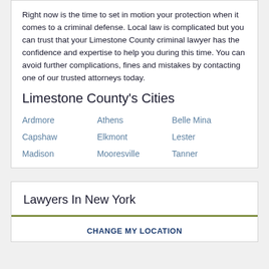Right now is the time to set in motion your protection when it comes to a criminal defense. Local law is complicated but you can trust that your Limestone County criminal lawyer has the confidence and expertise to help you during this time. You can avoid further complications, fines and mistakes by contacting one of our trusted attorneys today.
Limestone County's Cities
Ardmore
Athens
Belle Mina
Capshaw
Elkmont
Lester
Madison
Mooresville
Tanner
Lawyers In New York
CHANGE MY LOCATION